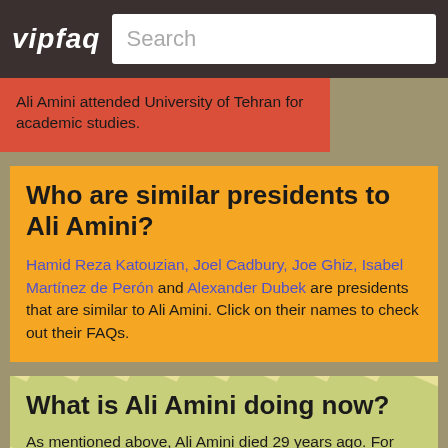vipfaq | Search
Ali Amini attended University of Tehran for academic studies.
Who are similar presidents to Ali Amini?
Hamid Reza Katouzian, Joel Cadbury, Joe Ghiz, Isabel Martínez de Perón and Alexander Dubek are presidents that are similar to Ali Amini. Click on their names to check out their FAQs.
What is Ali Amini doing now?
As mentioned above, Ali Amini died 29 years ago. For frequently asked questions about...